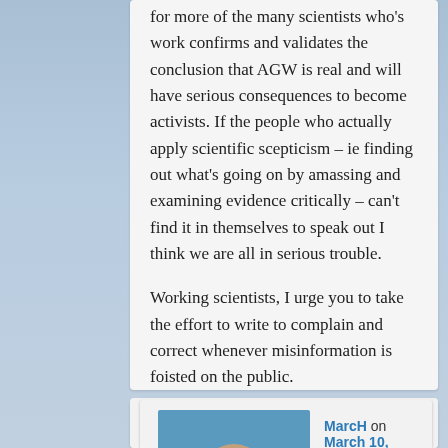for more of the many scientists who's work confirms and validates the conclusion that AGW is real and will have serious consequences to become activists. If the people who actually apply scientific scepticism – ie finding out what's going on by amassing and examining evidence critically – can't find it in themselves to speak out I think we are all in serious trouble.
Working scientists, I urge you to take the effort to write to complain and correct whenever misinformation is foisted on the public.
Reply ↓
[Figure (photo): Avatar photo of MarcH — person wearing a blue helmet, outdoor climbing or hiking setting]
MarcH on March 10, 2010 at 6:13 am said: